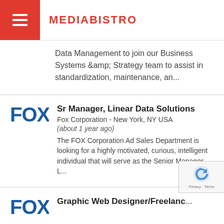MEDIABISTRO
Data Management to join our Business Systems &amp; Strategy team to assist in standardization, maintenance, an...
Sr Manager, Linear Data Solutions
Fox Corporation - New York, NY USA
(about 1 year ago)
The FOX Corporation Ad Sales Department is looking for a highly motivated, curious, intelligent individual that will serve as the Senior Manager, L...
Graphic Web Designer/Freelance